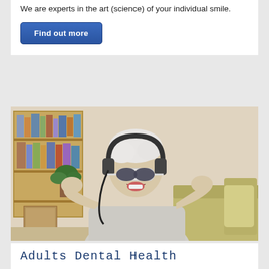We are experts in the art (science) of your individual smile.
Find out more
[Figure (photo): Elderly woman with white hair wearing funky white sunglasses and headphones, singing joyfully while seated on a sofa, with a bookshelf in the background.]
Adults Dental Health